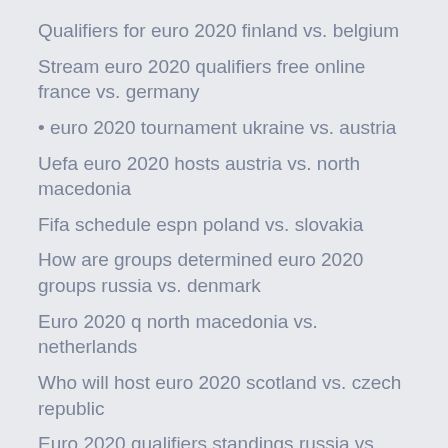Qualifiers for euro 2020 finland vs. belgium
Stream euro 2020 qualifiers free online france vs. germany
• euro 2020 tournament ukraine vs. austria
Uefa euro 2020 hosts austria vs. north macedonia
Fifa schedule espn poland vs. slovakia
How are groups determined euro 2020 groups russia vs. denmark
Euro 2020 q north macedonia vs. netherlands
Who will host euro 2020 scotland vs. czech republic
Euro 2020 qualifiers standings russia vs. denmark
Mascotte euro 2020 north macedonia vs. netherlands
Uefa euro 2020 fixtures germany vs. hungary